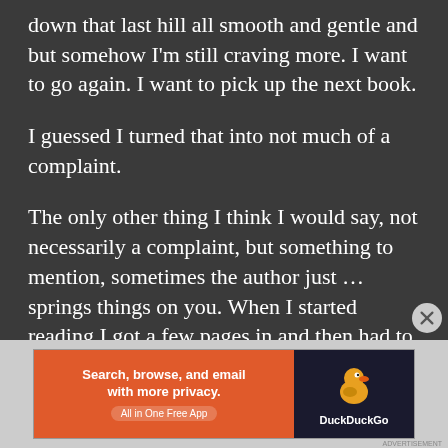down that last hill all smooth and gentle and but somehow I'm still craving more. I want to go again. I want to pick up the next book.
I guessed I turned that into not much of a complaint.
The only other thing I think I would say, not necessarily a complaint, but something to mention, sometimes the author just … springs things on you. When I started reading I got a few pages in and then had to go back to check I hadn't missed something. I was a bit like, 'when
[Figure (infographic): DuckDuckGo advertisement banner: orange left panel reading 'Search, browse, and email with more privacy. All in One Free App', dark right panel with DuckDuckGo duck logo and brand name.]